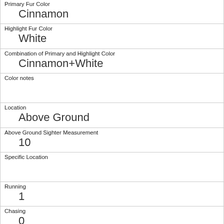| Primary Fur Color | Cinnamon |
| Highlight Fur Color | White |
| Combination of Primary and Highlight Color | Cinnamon+White |
| Color notes |  |
| Location | Above Ground |
| Above Ground Sighter Measurement | 10 |
| Specific Location |  |
| Running | 1 |
| Chasing | 0 |
| Climbing | 1 |